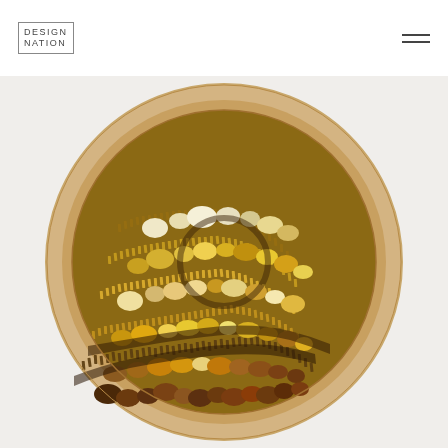DESIGN NATION
[Figure (photo): A circular wooden tray or decorative art piece featuring a mosaic of stones and thin wooden sticks arranged in wave-like patterns. The stones are various shades of gold, amber, brown, and cream/white. The circular mosaic is set within a larger round wooden frame with a natural light maple finish. The piece is photographed from above against a white background.]